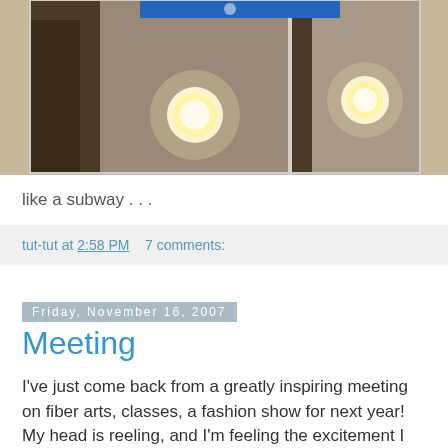[Figure (photo): Two side-by-side photos of interior hallway/corridor scenes with glowing round ceiling lights against dark/grey walls, with a partial blue sign visible at top]
like a subway . . .
tut-tut at 2:58 PM    7 comments:
Friday, November 16, 2007
Meeting
I've just come back from a greatly inspiring meeting on fiber arts, classes, a fashion show for next year! My head is reeling, and I'm feeling the excitement I wish I'd been feeling